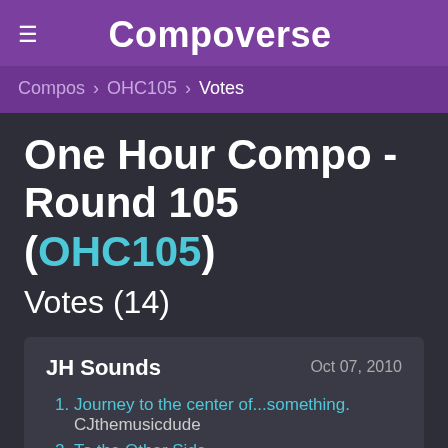Compoverse
Compos > OHC105 > Votes
One Hour Compo - Round 105 (OHC105)
Votes (14)
JH Sounds — Oct 07, 2010
1. Journey to the center of...something. — CJthemusicdude
2. To the Other Side